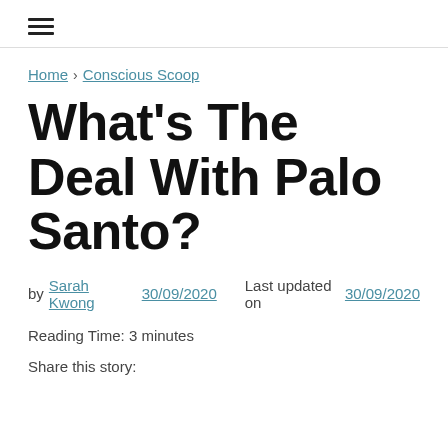☰
Home > Conscious Scoop
What's The Deal With Palo Santo?
by Sarah Kwong  30/09/2020  Last updated on 30/09/2020
Reading Time: 3 minutes
Share this story: